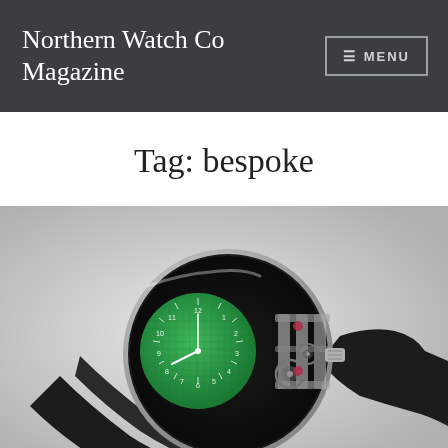Northern Watch Co Magazine
Tag: bespoke
[Figure (photo): Close-up photograph of a luxury skeleton wristwatch with a green dial sub-register on the left half of the watch face and exposed mechanical movement on the right half, silver case, black leather strap, set against a light grey background.]